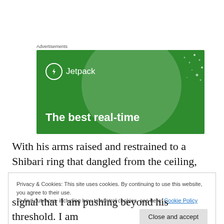Advertisements
[Figure (illustration): Jetpack advertisement banner with green background, circular light overlay, white dots pattern, Jetpack logo (lightning bolt icon in circle) and text 'The best real-time']
With his arms raised and restrained to a Shibari ring that dangled from the ceiling, his back and shoulders are
Privacy & Cookies: This site uses cookies. By continuing to use this website, you agree to their use.
To find out more, including how to control cookies, see here: Cookie Policy
signal that I am pushing beyond his threshold. I am